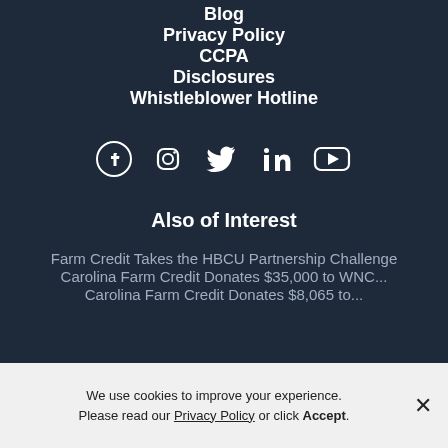Blog
Privacy Policy
CCPA
Disclosures
Whistleblower Hotline
[Figure (infographic): Social media icons: Facebook, Instagram, Twitter, LinkedIn, YouTube]
Also of Interest
Farm Credit Takes the HBCU Partnership Challenge
Carolina Farm Credit Donates $35,000 to WNC...
Carolina Farm Credit Donates $8,065 to...
We use cookies to improve your experience. Please read our Privacy Policy or click Accept.